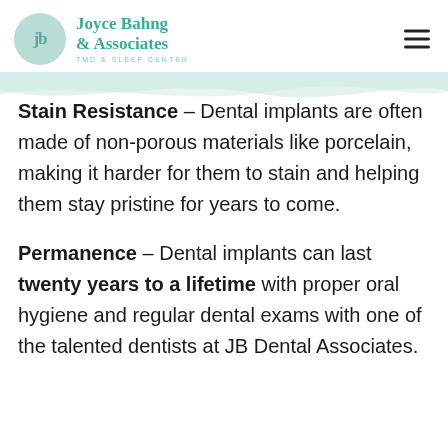Joyce Bahng & Associates TMD & Sleep Center
Stain Resistance – Dental implants are often made of non-porous materials like porcelain, making it harder for them to stain and helping them stay pristine for years to come.
Permanence – Dental implants can last twenty years to a lifetime with proper oral hygiene and regular dental exams with one of the talented dentists at JB Dental Associates.